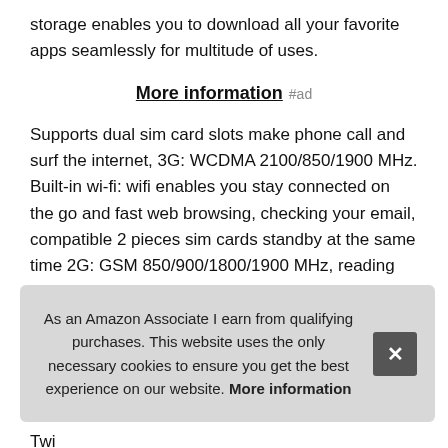storage enables you to download all your favorite apps seamlessly for multitude of uses.
More information #ad
Supports dual sim card slots make phone call and surf the internet, 3G: WCDMA 2100/850/1900 MHz. Built-in wi-fi: wifi enables you stay connected on the go and fast web browsing, checking your email, compatible 2 pieces sim cards standby at the same time 2G: GSM 850/900/1800/1900 MHz, reading an eBook and Skype with your friends.
Amazing viewer experience : this android 8. 1 tablet with a large hd 101 inch 1920*1080 bright ips screen resolution offe... and... Twi... Hot... entertainment purposes.
As an Amazon Associate I earn from qualifying purchases. This website uses the only necessary cookies to ensure you get the best experience on our website. More information